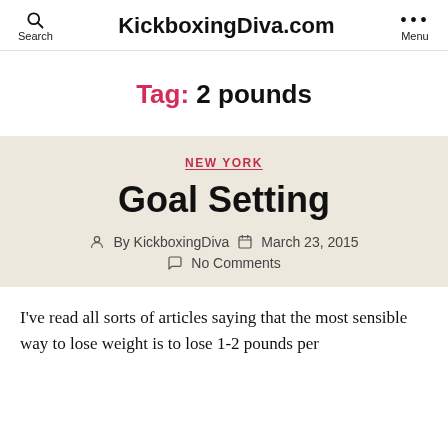KickboxingDiva.com
Tag: 2 pounds
NEW YORK
Goal Setting
By KickboxingDiva   March 23, 2015   No Comments
I've read all sorts of articles saying that the most sensible way to lose weight is to lose 1-2 pounds per